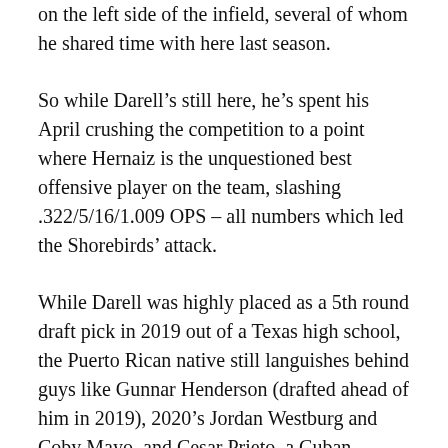on the left side of the infield, several of whom he shared time with here last season.
So while Darell’s still here, he’s spent his April crushing the competition to a point where Hernaiz is the unquestioned best offensive player on the team, slashing .322/5/16/1.009 OPS – all numbers which led the Shorebirds’ attack.
While Darell was highly placed as a 5th round draft pick in 2019 out of a Texas high school, the Puerto Rican native still languishes behind guys like Gunnar Henderson (drafted ahead of him in 2019), 2020’s Jordan Westburg and Coby Mayo, and Cesar Prieto, a Cuban shortstop